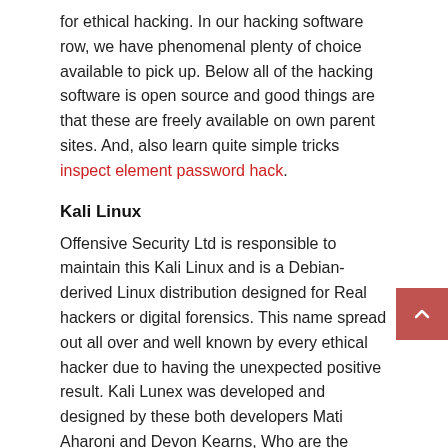for ethical hacking. In our hacking software row, we have phenomenal plenty of choice available to pick up. Below all of the hacking software is open source and good things are that these are freely available on own parent sites. And, also learn quite simple tricks inspect element password hack.
Kali Linux
Offensive Security Ltd is responsible to maintain this Kali Linux and is a Debian-derived Linux distribution designed for Real hackers or digital forensics. This name spread out all over and well known by every ethical hacker due to having the unexpected positive result. Kali Lunex was developed and designed by these both developers Mati Aharoni and Devon Kearns, Who are the experts in the security network.
Download Kali Linux from the official website
BackBox
Linux distribution is also responsible for BackBox penetration testing. This security research program